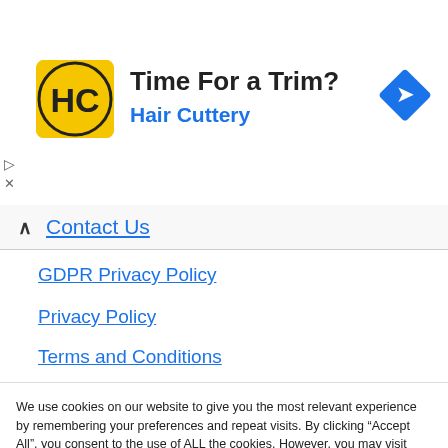[Figure (logo): Hair Cuttery advertisement banner with yellow HC logo, text 'Time For a Trim?' and 'Hair Cuttery' in blue, and a blue diamond navigation icon on the right]
Contact Us
GDPR Privacy Policy
Privacy Policy
Terms and Conditions
We use cookies on our website to give you the most relevant experience by remembering your preferences and repeat visits. By clicking “Accept All”, you consent to the use of ALL the cookies. However, you may visit "Cookie Settings" to provide a controlled consent.